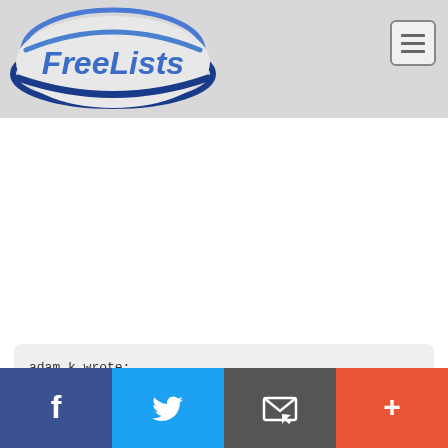[Figure (logo): FreeLists logo — blue oval with 'FreeLists' text in italic bold blue letters]
adam k wrote:
[Figure (infographic): Social sharing bar with Facebook, Twitter, Email, and More (+) buttons]